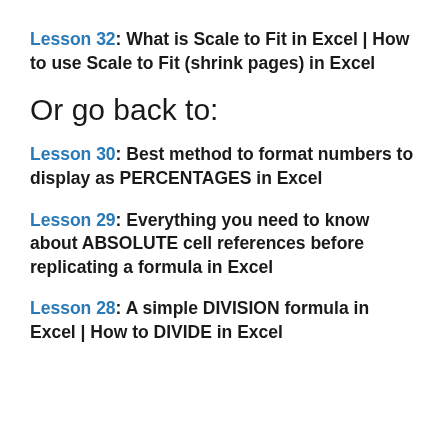Lesson 32: What is Scale to Fit in Excel | How to use Scale to Fit (shrink pages) in Excel
Or go back to:
Lesson 30: Best method to format numbers to display as PERCENTAGES in Excel
Lesson 29: Everything you need to know about ABSOLUTE cell references before replicating a formula in Excel
Lesson 28: A simple DIVISION formula in Excel | How to DIVIDE in Excel